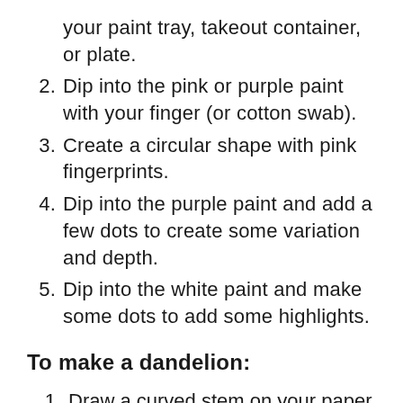your paint tray, takeout container, or plate.
2. Dip into the pink or purple paint with your finger (or cotton swab).
3. Create a circular shape with pink fingerprints.
4. Dip into the purple paint and add a few dots to create some variation and depth.
5. Dip into the white paint and make some dots to add some highlights.
To make a dandelion:
1. Draw a curved stem on your paper with a green marker.
2. Draw small curved lines coming from